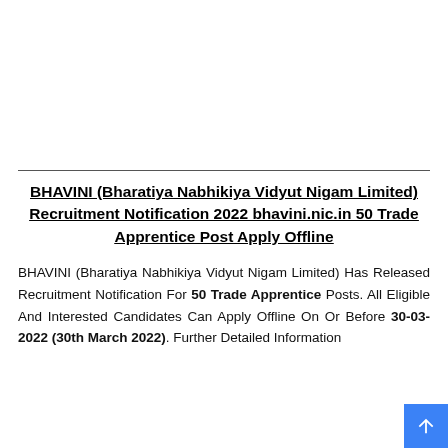BHAVINI (Bharatiya Nabhikiya Vidyut Nigam Limited) Recruitment Notification 2022 bhavini.nic.in 50 Trade Apprentice Post Apply Offline
BHAVINI (Bharatiya Nabhikiya Vidyut Nigam Limited) Has Released Recruitment Notification For 50 Trade Apprentice Posts. All Eligible And Interested Candidates Can Apply Offline On Or Before 30-03-2022 (30th March 2022). Further Detailed Information